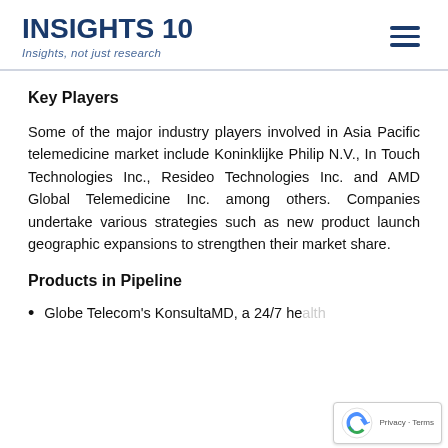INSIGHTS 10 — Insights, not just research
Key Players
Some of the major industry players involved in Asia Pacific telemedicine market include Koninklijke Philip N.V., In Touch Technologies Inc., Resideo Technologies Inc. and AMD Global Telemedicine Inc. among others. Companies undertake various strategies such as new product launch geographic expansions to strengthen their market share.
Products in Pipeline
Globe Telecom's KonsultaMD, a 24/7 health...